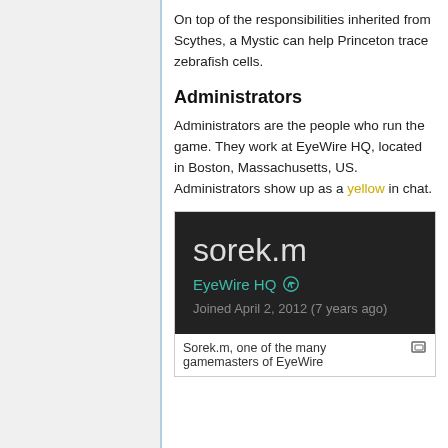On top of the responsibilities inherited from Scythes, a Mystic can help Princeton trace zebrafish cells.
Administrators
Administrators are the people who run the game. They work at EyeWire HQ, located in Boston, Massachusetts, US. Administrators show up as a yellow in chat.
[Figure (screenshot): A dark profile card showing username 'sorek.m', affiliation 'EyeWire HQ' with a link icon, and 'Joined April 2, 2012 (7 years ago)']
Sorek.m, one of the many gamemasters of EyeWire